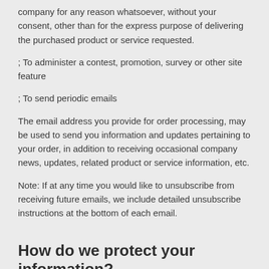company for any reason whatsoever, without your consent, other than for the express purpose of delivering the purchased product or service requested.
; To administer a contest, promotion, survey or other site feature
; To send periodic emails
The email address you provide for order processing, may be used to send you information and updates pertaining to your order, in addition to receiving occasional company news, updates, related product or service information, etc.
Note: If at any time you would like to unsubscribe from receiving future emails, we include detailed unsubscribe instructions at the bottom of each email.
How do we protect your information?
We implement a variety of security measures to